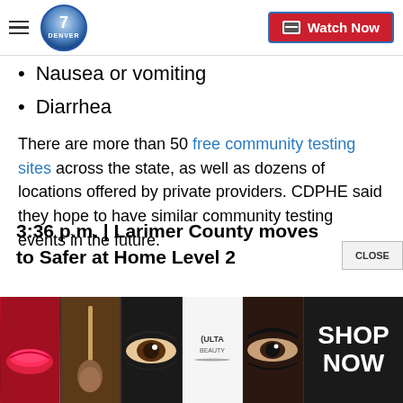Denver7 | Watch Now
Nausea or vomiting
Diarrhea
There are more than 50 free community testing sites across the state, as well as dozens of locations offered by private providers. CDPHE said they hope to have similar community testing events in the future.
3:36 p.m. | Larimer County moves to Safer at Home Level 2
[Figure (advertisement): Ulta Beauty advertisement banner with makeup product images (lips, brush, eyes, Ulta logo, eye closeup) and SHOP NOW text on right side]